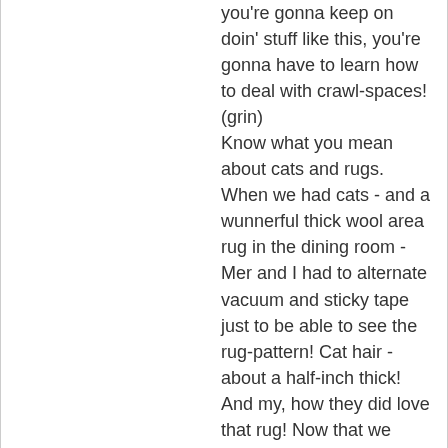you're gonna keep on doin' stuff like this, you're gonna have to learn how to deal with crawl-spaces! (grin)
Know what you mean about cats and rugs. When we had cats - and a wunnerful thick wool area rug in the dining room - Mer and I had to alternate vacuum and sticky tape just to be able to see the rug-pattern! Cat hair - about a half-inch thick! And my, how they did love that rug! Now that we have neither rug nor kitties - well, we miss both, I guess. . .